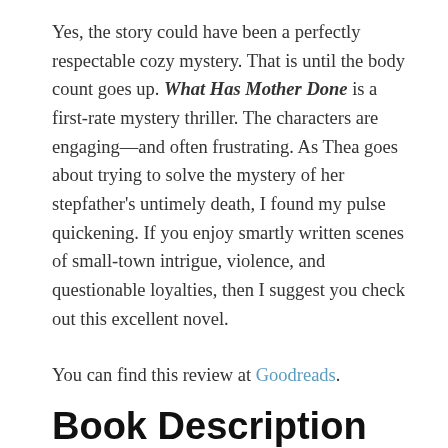Yes, the story could have been a perfectly respectable cozy mystery. That is until the body count goes up. What Has Mother Done is a first-rate mystery thriller. The characters are engaging—and often frustrating. As Thea goes about trying to solve the mystery of her stepfather's untimely death, I found my pulse quickening. If you enjoy smartly written scenes of small-town intrigue, violence, and questionable loyalties, then I suggest you check out this excellent novel.
You can find this review at Goodreads.
Book Description